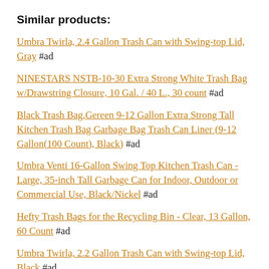Similar products:
Umbra Twirla, 2.4 Gallon Trash Can with Swing-top Lid, Gray #ad
NINESTARS NSTB-10-30 Extra Strong White Trash Bag w/Drawstring Closure, 10 Gal. / 40 L., 30 count #ad
Black Trash Bag,Gereen 9-12 Gallon Extra Strong Tall Kitchen Trash Bag Garbage Bag Trash Can Liner (9-12 Gallon(100 Count), Black) #ad
Umbra Venti 16-Gallon Swing Top Kitchen Trash Can - Large, 35-inch Tall Garbage Can for Indoor, Outdoor or Commercial Use, Black/Nickel #ad
Hefty Trash Bags for the Recycling Bin - Clear, 13 Gallon, 60 Count #ad
Umbra Twirla, 2.2 Gallon Trash Can with Swing-top Lid, Black #ad